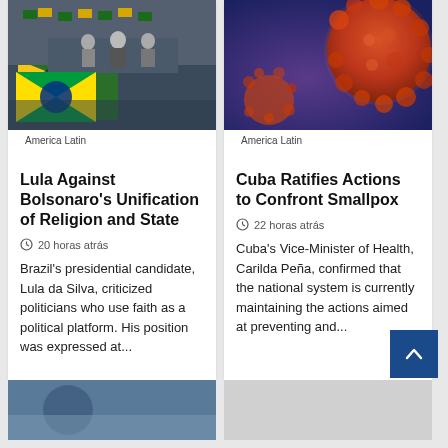[Figure (photo): Crowd scene with Brazil flag and people on stage]
America Latin
Lula Against Bolsonaro's Unification of Religion and State
20 horas atrás
Brazil's presidential candidate, Lula da Silva, criticized politicians who use faith as a political platform. His position was expressed at...
[Figure (photo): Microscopic image of virus particles, orange and red tones]
America Latin
Cuba Ratifies Actions to Confront Smallpox
22 horas atrás
Cuba's Vice-Minister of Health, Carilda Peña, confirmed that the national system is currently maintaining the actions aimed at preventing and...